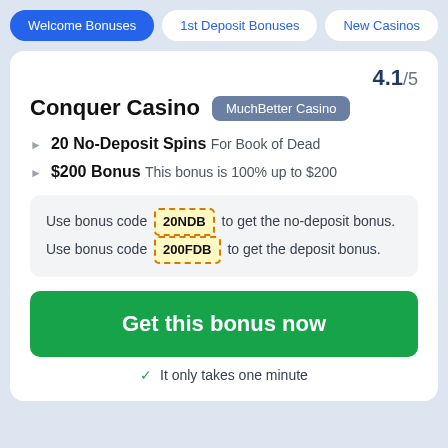Welcome Bonuses | 1st Deposit Bonuses | New Casinos
4.1/5
Conquer Casino MuchBetter Casino
20 No-Deposit Spins For Book of Dead
$200 Bonus This bonus is 100% up to $200
Use bonus code 20NDB to get the no-deposit bonus. Use bonus code 200FDB to get the deposit bonus.
Get this bonus now
✓ It only takes one minute